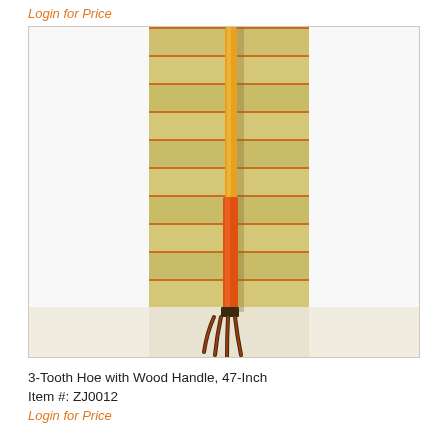Login for Price
[Figure (photo): A 3-tooth hoe with a long orange/yellow wooden handle leaning against a wooden slatted wall background. The hoe head with three curved tines is visible at the bottom. The background features horizontal wooden planks with orange-red accent strips.]
3-Tooth Hoe with Wood Handle, 47-Inch
Item #: ZJ0012
Login for Price